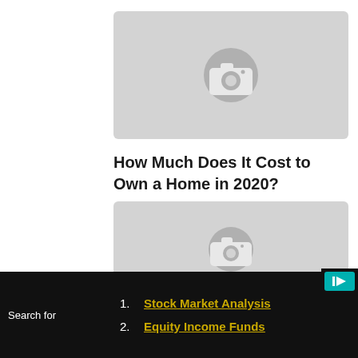[Figure (photo): Placeholder image with camera icon, light gray background]
How Much Does It Cost to Own a Home in 2020?
[Figure (photo): Second placeholder image with camera icon, light gray background]
Search for
1. Stock Market Analysis
2. Equity Income Funds